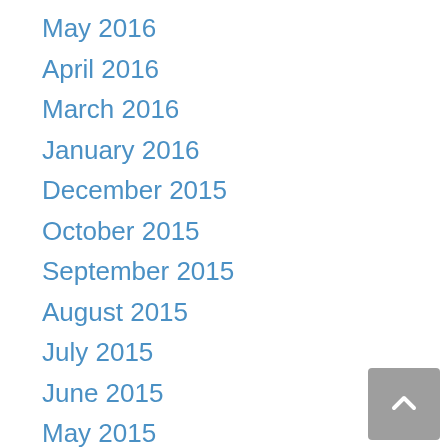May 2016
April 2016
March 2016
January 2016
December 2015
October 2015
September 2015
August 2015
July 2015
June 2015
May 2015
April 2015
March 2015
February 2015
January 2015